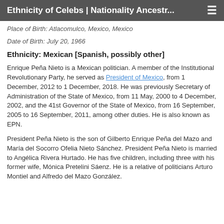Ethnicity of Celebs | Nationality Ancestr...
Place of Birth: Atlacomulco, Mexico, Mexico
Date of Birth: July 20, 1966
Ethnicity: Mexican [Spanish, possibly other]
Enrique Peña Nieto is a Mexican politician. A member of the Institutional Revolutionary Party, he served as President of Mexico, from 1 December, 2012 to 1 December, 2018. He was previously Secretary of Administration of the State of Mexico, from 11 May, 2000 to 4 December, 2002, and the 41st Governor of the State of Mexico, from 16 September, 2005 to 16 September, 2011, among other duties. He is also known as EPN.
President Peña Nieto is the son of Gilberto Enrique Peña del Mazo and María del Socorro Ofelia Nieto Sánchez. President Peña Nieto is married to Angélica Rivera Hurtado. He has five children, including three with his former wife, Mónica Pretelini Sáenz. He is a relative of politicians Arturo Montiel and Alfredo del Mazo González.